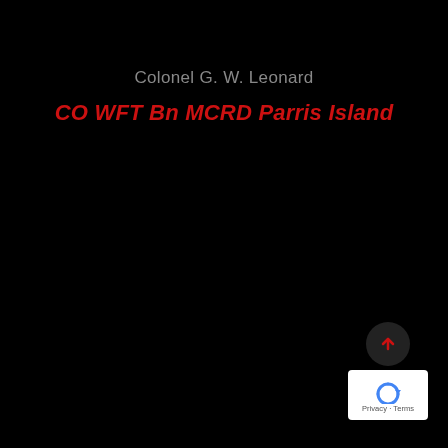Colonel G. W. Leonard
CO WFT Bn MCRD Parris Island
[Figure (screenshot): UI overlay with an upward arrow button in a dark circular button, and a reCAPTCHA logo with 'Privacy · Terms' text below]